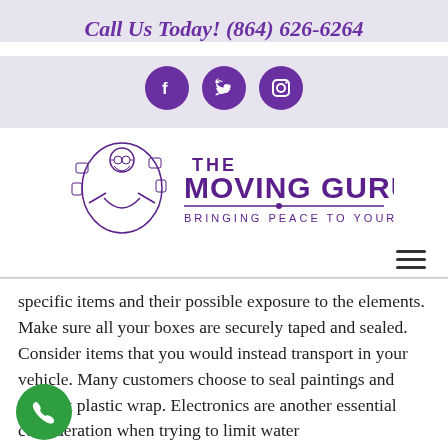Call Us Today! (864) 626-6264
[Figure (logo): Social media icons: Facebook, Twitter, Instagram in purple circles]
[Figure (logo): The Moving Gurus logo with a meditating guru character and text 'THE MOVING GURUS - BRINGING PEACE TO YOUR MOVE']
[Figure (other): Hamburger menu icon (three horizontal lines)]
specific items and their possible exposure to the elements. Make sure all your boxes are securely taped and sealed. Consider items that you would instead transport in your vehicle. Many customers choose to seal paintings and artwork plastic wrap. Electronics are another essential consideration when trying to limit water
[Figure (other): Green circular phone/call button in lower left]